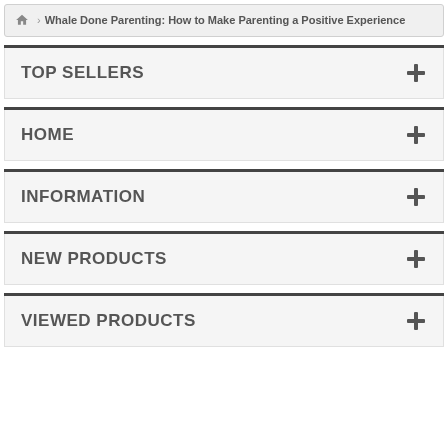Whale Done Parenting: How to Make Parenting a Positive Experience
TOP SELLERS
HOME
INFORMATION
NEW PRODUCTS
VIEWED PRODUCTS